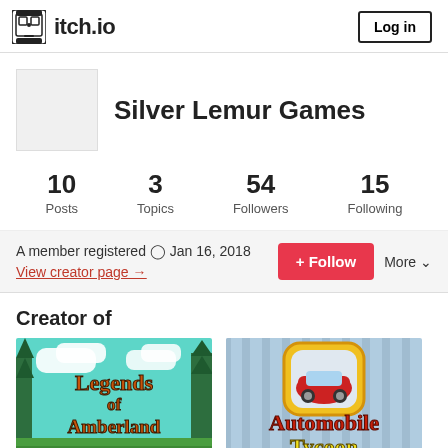itch.io
Silver Lemur Games
| Posts | Topics | Followers | Following |
| --- | --- | --- | --- |
| 10 | 3 | 54 | 15 |
A member registered Jan 16, 2018
View creator page →
Creator of
[Figure (screenshot): Legends of Amberland game thumbnail with pixel art forest scene]
[Figure (screenshot): Automobile Tycoon game thumbnail with red car icon on blue striped background]